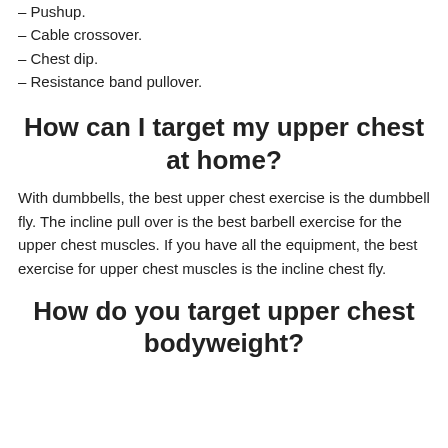– Pushup.
– Cable crossover.
– Chest dip.
– Resistance band pullover.
How can I target my upper chest at home?
With dumbbells, the best upper chest exercise is the dumbbell fly. The incline pull over is the best barbell exercise for the upper chest muscles. If you have all the equipment, the best exercise for upper chest muscles is the incline chest fly.
How do you target upper chest bodyweight?